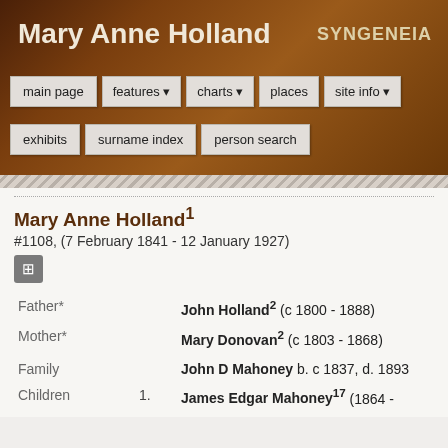Mary Anne Holland
SYNGENEIA
main page | features | charts | places | site info | exhibits | surname index | person search
Mary Anne Holland¹
#1108, (7 February 1841 - 12 January 1927)
| Role | Number | Person |
| --- | --- | --- |
| Father* |  | John Holland² (c 1800 - 1888) |
| Mother* |  | Mary Donovan² (c 1803 - 1868) |
| Family |  | John D Mahoney b. c 1837, d. 1893 |
| Children | 1. | James Edgar Mahoney¹⁷ (1864 - |